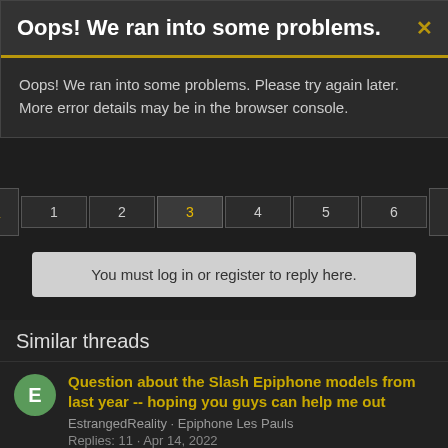Oops! We ran into some problems.
Oops! We ran into some problems. Please try again later. More error details may be in the browser console.
◄ Prev   1   2   3   4   5   6   Next ►
You must log in or register to reply here.
Similar threads
Question about the Slash Epiphone models from last year -- hoping you guys can help me out
EstrangedReality · Epiphone Les Pauls
Replies: 11 · Apr 14, 2022
Help me choosing the right les paul....
Jony2119 · Epiphone Les Pauls
Replies: 19 · Feb 16, 2013